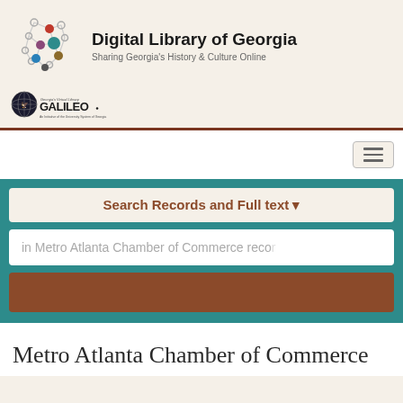[Figure (logo): Digital Library of Georgia logo with network graph of Georgia state outline with colored nodes and connecting lines, alongside text 'Digital Library of Georgia' and subtitle 'Sharing Georgia's History & Culture Online']
[Figure (logo): GALILEO logo - Georgia's Virtual Library, An Initiative of the University System of Georgia, with globe icon]
[Figure (screenshot): Navigation hamburger menu button with three horizontal lines]
Search Records and Full text
in Metro Atlanta Chamber of Commerce records
Metro Atlanta Chamber of Commerce